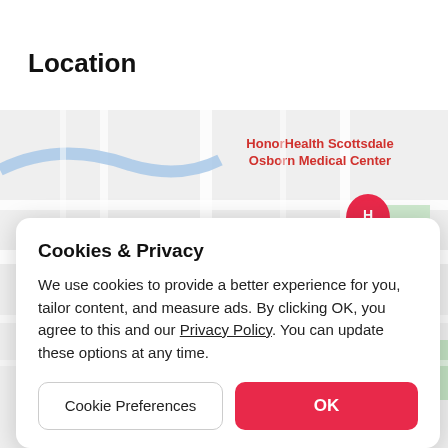Location
[Figure (map): Google Maps showing HonorHealth Scottsdale Osborn Medical Center location in Southwest Village area, with red hospital pin marker labeled H]
Cookies & Privacy
We use cookies to provide a better experience for you, tailor content, and measure ads. By clicking OK, you agree to this and our Privacy Policy. You can update these options at any time.
Cookie Preferences
OK